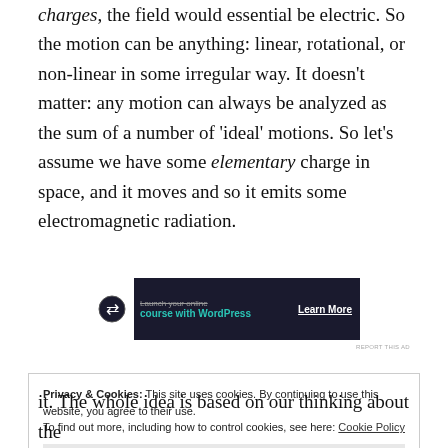charges, the field would essential be electric. So the motion can be anything: linear, rotational, or non-linear in some irregular way. It doesn't matter: any motion can always be analyzed as the sum of a number of 'ideal' motions. So let's assume we have some elementary charge in space, and it moves and so it emits some electromagnetic radiation.
[Figure (other): Advertisement banner: Launch your online course with WordPress — Learn More button]
REPORT THIS AD
Privacy & Cookies: This site uses cookies. By continuing to use this website, you agree to their use.
To find out more, including how to control cookies, see here: Cookie Policy
[Close and accept button]
it. The whole idea is based on our thinking about the